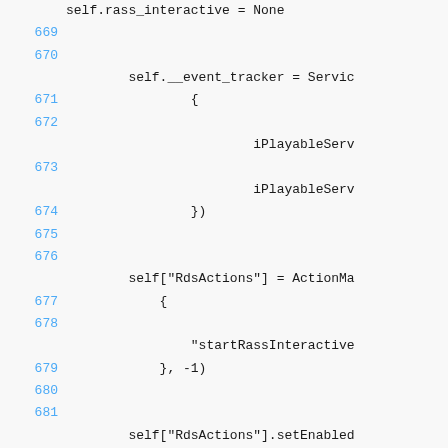self.rass_interactive = None
669
670
self.__event_tracker = Servic
671  {
672
iPlayableServ
673
iPlayableServ
674  })
675
676
self["RdsActions"] = ActionMa
677  {
678
"startRassInteractive
679  }, -1)
680
681
self["RdsActions"].setEnabled